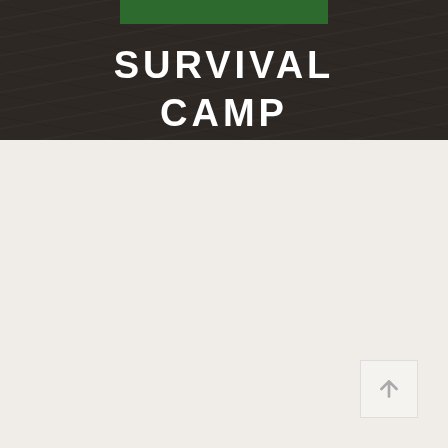[Figure (other): Dark wood-textured header background with a green bar accent at the top center]
SURVIVAL CAMP
[Figure (other): Light beige/cream background body area with a scroll-to-top button (upward arrow) in the lower right corner]